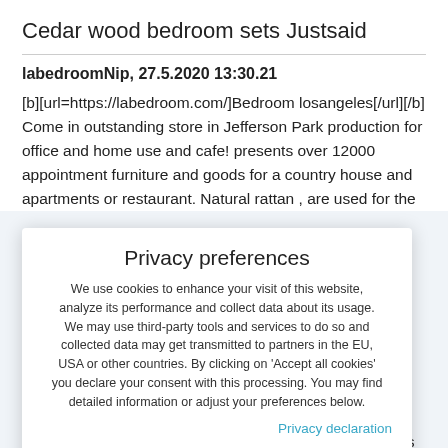Cedar wood bedroom sets Justsaid
labedroomNip, 27.5.2020 13:30.21
[b][url=https://labedroom.com/]Bedroom losangeles[/url][/b] Come in outstanding store in Jefferson Park production for office and home use and cafe! presents over 12000 appointment furniture and goods for a country house and apartments or restaurant. Natural rattan , are used for the ... possesses al data. All which their es ambient ur furniture it in open ered photos n's room , as a - dressers n Fairfax you nsive . We
Privacy preferences
We use cookies to enhance your visit of this website, analyze its performance and collect data about its usage. We may use third-party tools and services to do so and collected data may get transmitted to partners in the EU, USA or other countries. By clicking on 'Accept all cookies' you declare your consent with this processing. You may find detailed information or adjust your preferences below.
Privacy declaration
Show details
Accept all cookies